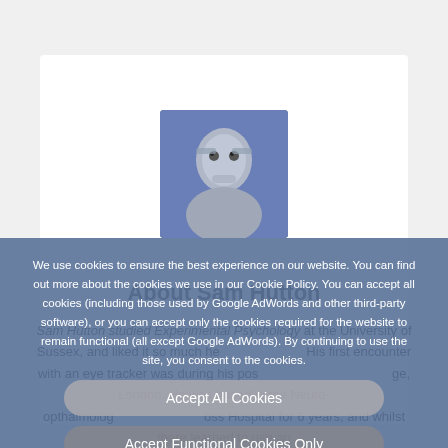[Figure (photo): Profile photo of Sam Hutton, a person's face shown from the front against a blue/grey background]
About Sam Hutton
Sam Hutton studied Experimental Psychology at the University of Sussex, and liked it so much he ... His first encounter with an eye tracker was during his pos... ge, London. He was based in the Neuro-opthalmolog... oss Hospital for 6 years, and whilst there learned to use an
We use cookies to ensure the best experience on our website. You can find out more about the cookies we use in our Cookie Policy. You can accept all cookies (including those used by Google AdWords and other third-party software), or you can accept only the cookies required for the website to remain functional (all except Google AdWords). By continuing to use the site, you consent to the cookies.
Accept All Cookies
Accept Functional Cookies Only
Read more